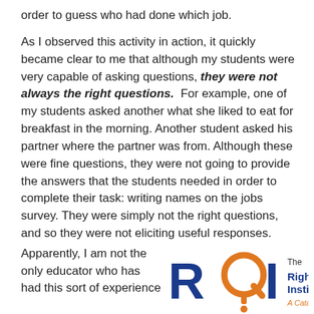order to guess who had done which job.
As I observed this activity in action, it quickly became clear to me that although my students were very capable of asking questions, they were not always the right questions. For example, one of my students asked another what she liked to eat for breakfast in the morning. Another student asked his partner where the partner was from. Although these were fine questions, they were not going to provide the answers that the students needed in order to complete their task: writing names on the jobs survey. They were simply not the right questions, and so they were not eliciting useful responses.
Apparently, I am not the only educator who has had this sort of experience
[Figure (logo): Right Question Institute logo — RQI letters with an orange question mark, text reading 'The Right Question Institute' and 'A Catalyst for Microdemocracy']